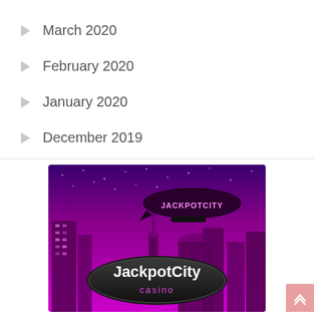March 2020
February 2020
January 2020
December 2019
[Figure (illustration): JackpotCity Casino advertisement banner showing a blimp with 'JACKPOTCITY' text flying over a purple-lit city skyline at night, with 'JackpotCity casino' logo in a black oval at the bottom]